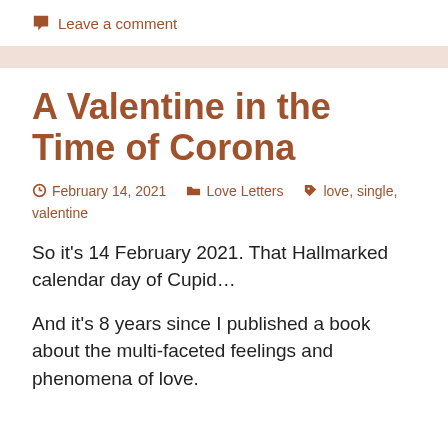Leave a comment
A Valentine in the Time of Corona
February 14, 2021   Love Letters   love, single, valentine
So it's 14 February 2021. That Hallmarked calendar day of Cupid...
And it's 8 years since I published a book about the multi-faceted feelings and phenomena of love.